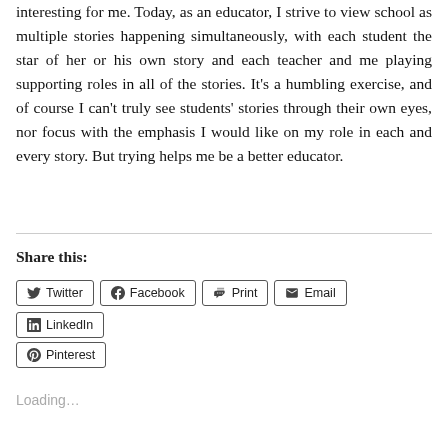interesting for me. Today, as an educator, I strive to view school as multiple stories happening simultaneously, with each student the star of her or his own story and each teacher and me playing supporting roles in all of the stories. It's a humbling exercise, and of course I can't truly see students' stories through their own eyes, nor focus with the emphasis I would like on my role in each and every story. But trying helps me be a better educator.
Share this:
Loading...